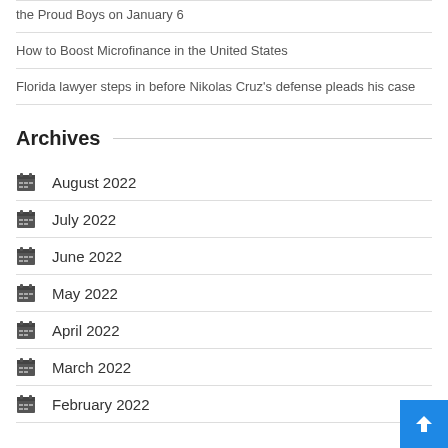the Proud Boys on January 6
How to Boost Microfinance in the United States
Florida lawyer steps in before Nikolas Cruz's defense pleads his case
Archives
August 2022
July 2022
June 2022
May 2022
April 2022
March 2022
February 2022